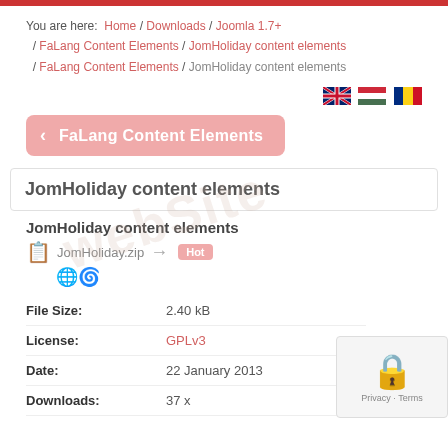You are here: Home / Downloads / Joomla 1.7+ / FaLang Content Elements / JomHoliday content elements / FaLang Content Elements / JomHoliday content elements
[Figure (illustration): Three flag icons: UK flag, Hungarian flag, Romanian flag]
< FaLang Content Elements (back button)
JomHoliday content elements
JomHoliday content elements
JomHoliday.zip  Hot
| File Size: | 2.40 kB |
| License: | GPLv3 |
| Date: | 22 January 2013 |
| Downloads: | 37 x |